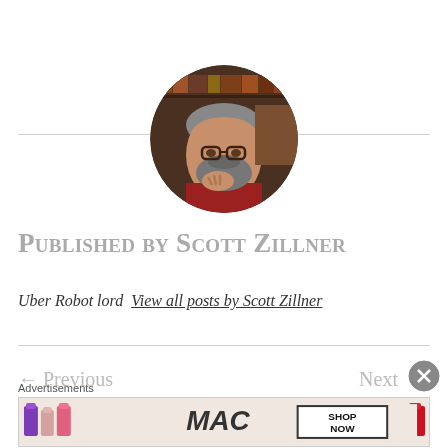[Figure (photo): Circular avatar photo of a bearded man with glasses in a thoughtful pose, background shows bookshelves]
Published by Scott Zillner
Uber Robot lord  View all posts by Scott Zillner
← Previous   Next →
Advertisements
[Figure (photo): MAC cosmetics advertisement banner with lipsticks and SHOP NOW text]